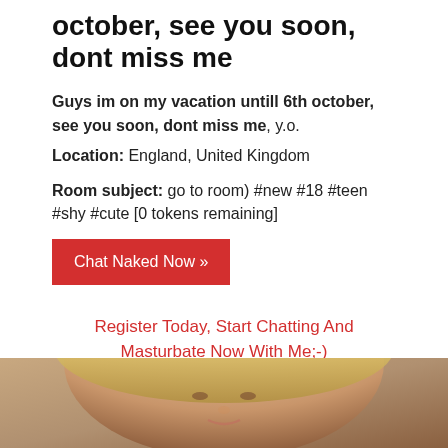october, see you soon, dont miss me
Guys im on my vacation untill 6th october, see you soon, dont miss me, y.o.
Location: England, United Kingdom
Room subject: go to room) #new #18 #teen #shy #cute [0 tokens remaining]
Chat Naked Now »
Register Today, Start Chatting And Masturbate Now With Me;-)
[Figure (photo): Partial view of a person's face, blonde hair, close-up photo at bottom of page]